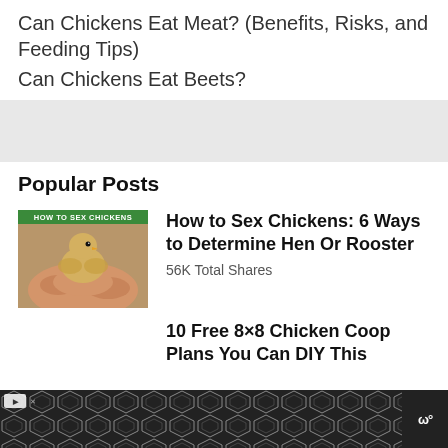Can Chickens Eat Meat? (Benefits, Risks, and Feeding Tips)
Can Chickens Eat Beets?
Popular Posts
[Figure (photo): Photo of a chick being held in a hand, with text overlay 'HOW TO SEX CHICKENS']
How to Sex Chickens: 6 Ways to Determine Hen Or Rooster
56K Total Shares
10 Free 8×8 Chicken Coop Plans You Can DIY This
[Figure (other): Advertisement banner with diamond/hexagon pattern and logo 'WWº']